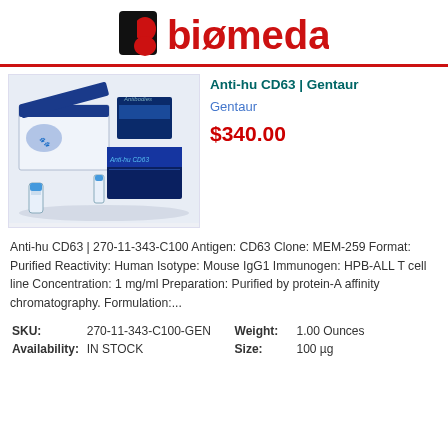[Figure (logo): Biomeda logo with stylized 'b' icon in black and red, followed by 'biomeda' text in red with a slash through the 'o']
Anti-hu CD63 | Gentaur
Gentaur
$340.00
[Figure (photo): Product photo showing Anti-hu CD63 antibody kit with blue and white packaging boxes and vials]
Anti-hu CD63 | 270-11-343-C100 Antigen: CD63 Clone: MEM-259 Format: Purified Reactivity: Human Isotype: Mouse IgG1 Immunogen: HPB-ALL T cell line Concentration: 1 mg/ml Preparation: Purified by protein-A affinity chromatography. Formulation:...
| SKU: | 270-11-343-C100-GEN | Weight: | 1.00 Ounces |
| Availability: | IN STOCK | Size: | 100 µg |